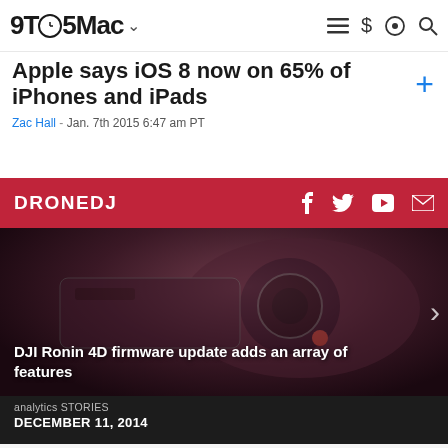9TO5Mac
Apple says iOS 8 now on 65% of iPhones and iPads
Zac Hall - Jan. 7th 2015 6:47 am PT
DRONEDJ
[Figure (photo): DJI Ronin 4D camera gimbal, dark studio background]
DJI Ronin 4D firmware update adds an array of features
analytics STORIES
DECEMBER 11, 2014
Beta distribution service HockeyApp acquired by Microsoft
Zac Hall - Dec. 11th 2014 6:40 am PT @apollozac
APPS
TECH INDUSTRY
MICROSOFT